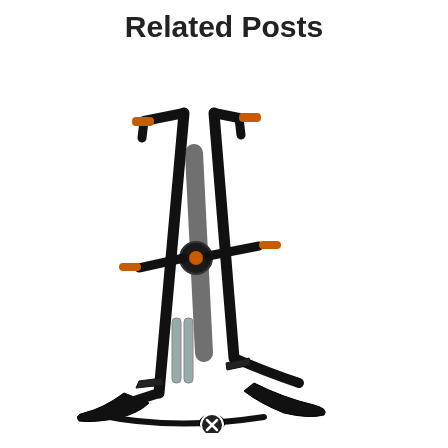Related Posts
[Figure (photo): A vertical climbing exercise machine (stepper/climber) with black metal frame, orange foam grips on handlebars, chrome cylinder pistons, and foot pedals. The machine has an A-frame base and two sets of handles — upper stationary handles and lower moving handles.]